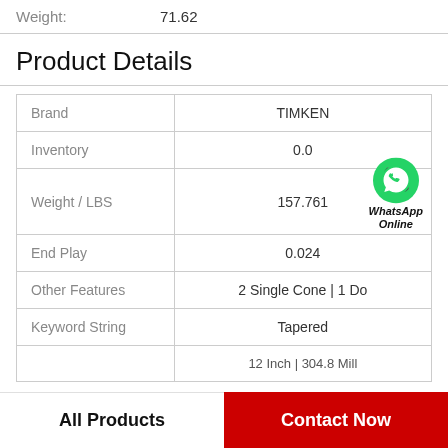Weight: 71.62
Product Details
|  |  |
| --- | --- |
| Brand | TIMKEN |
| Inventory | 0.0 |
| Weight / LBS | 157.761 |
| End Play | 0.024 |
| Other Features | 2 Single Cone | 1 Do |
| Keyword String | Tapered |
|  | 12 Inch | 304.8 Mill |
All Products
Contact Now